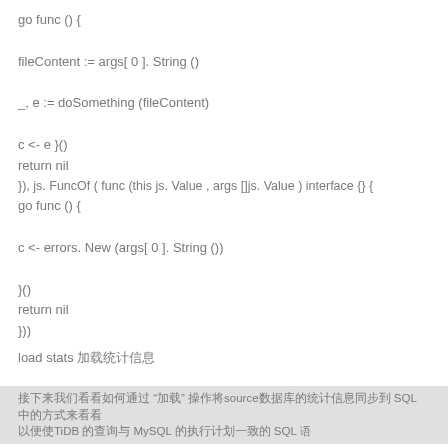go func () {

fileContent := args[ 0 ]. String ()

_, e := doSomething (fileContent)

c <- e }()
return nil
}), js. FuncOf ( func (this js. Value , args []js. Value ) interface {} {
go func () {

c <- errors. New (args[ 0 ]. String ())

}()
return nil
}))
load stats 加载统计信息
接下来我们看看如何通过 "加载" 操作将source数据库的统计信息同步到 SQL 中的方式来看看
以便使TiDB 的查询与 MySQL 的执行计划一致的 SQL 语